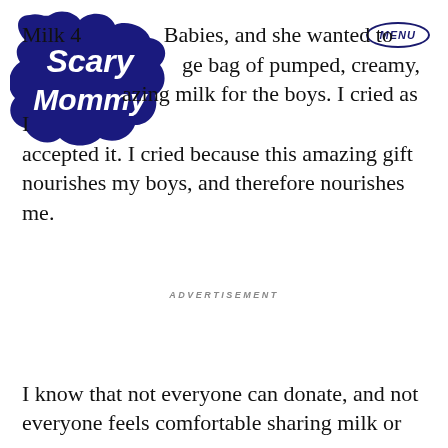[Figure (logo): Scary Mommy logo — white text on dark navy/blue cloud/bubble shape]
Milk 4... Babies, and she wanted to hand me a large bag of pumped, creamy, amazing milk for the boys. I cried as I accepted it. I cried because this amazing gift nourishes my boys, and therefore nourishes me.
ADVERTISEMENT
I know that not everyone can donate, and not everyone feels comfortable sharing milk or